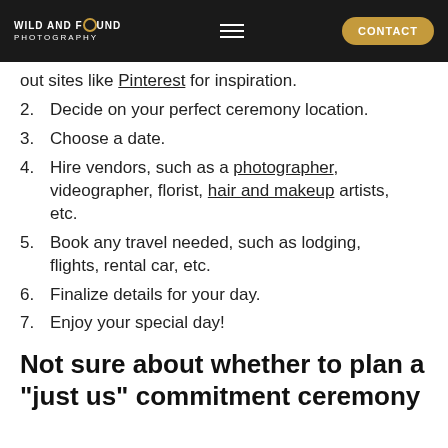WILD AND FOUND PHOTOGRAPHY | CONTACT
out sites like Pinterest for inspiration.
2. Decide on your perfect ceremony location.
3. Choose a date.
4. Hire vendors, such as a photographer, videographer, florist, hair and makeup artists, etc.
5. Book any travel needed, such as lodging, flights, rental car, etc.
6. Finalize details for your day.
7. Enjoy your special day!
Not sure about whether to plan a "just us" commitment ceremony